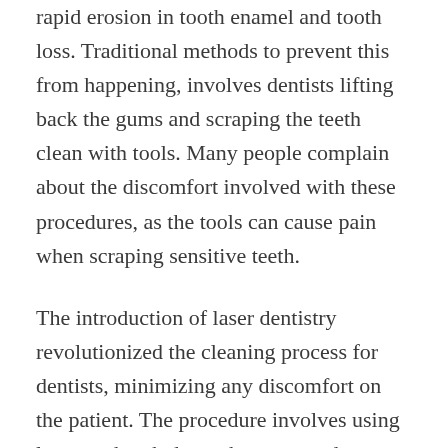rapid erosion in tooth enamel and tooth loss. Traditional methods to prevent this from happening, involves dentists lifting back the gums and scraping the teeth clean with tools. Many people complain about the discomfort involved with these procedures, as the tools can cause pain when scraping sensitive teeth.
The introduction of laser dentistry revolutionized the cleaning process for dentists, minimizing any discomfort on the patient. The procedure involves using lasers to break down the tartar and hardened plaque on the teeth, removing the irritants that are the cause of gum disease.
The gums recover quickly, and the patient experiences